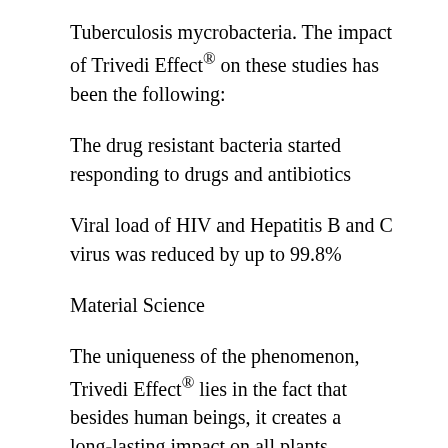Tuberculosis mycrobacteria. The impact of Trivedi Effect® on these studies has been the following:
The drug resistant bacteria started responding to drugs and antibiotics
Viral load of HIV and Hepatitis B and C virus was reduced by up to 99.8%
Material Science
The uniqueness of the phenomenon, Trivedi Effect® lies in the fact that besides human beings, it creates a long-lasting impact on all plants, animals, cells, microbes and creates an